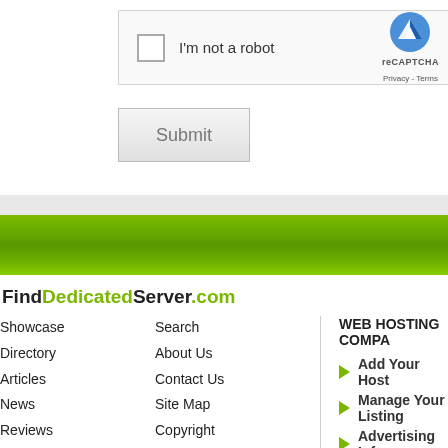[Figure (screenshot): reCAPTCHA checkbox widget with 'I'm not a robot' label and reCAPTCHA logo with Privacy and Terms links]
[Figure (screenshot): Submit button]
[Figure (screenshot): Green gradient banner bar]
FindDedicatedServer.com
Showcase
Directory
Articles
News
Reviews
Forums
Search
About Us
Contact Us
Site Map
Copyright
Privacy Policy
WEB HOSTING COMPA
Add Your Host
Manage Your Listing
Advertising Info
© 2022 Clicksee